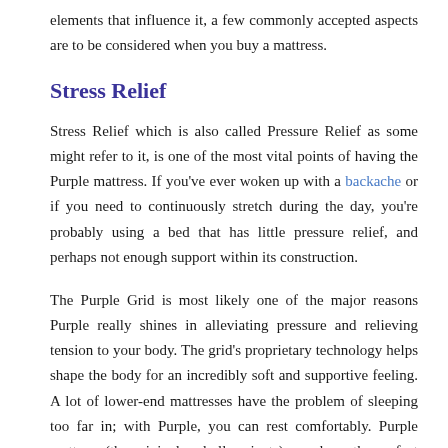elements that influence it, a few commonly accepted aspects are to be considered when you buy a mattress.
Stress Relief
Stress Relief which is also called Pressure Relief as some might refer to it, is one of the most vital points of having the Purple mattress. If you've ever woken up with a backache or if you need to continuously stretch during the day, you're probably using a bed that has little pressure relief, and perhaps not enough support within its construction.
The Purple Grid is most likely one of the major reasons Purple really shines in alleviating pressure and relieving tension to your body. The grid's proprietary technology helps shape the body for an incredibly soft and supportive feeling. A lot of lower-end mattresses have the problem of sleeping too far in; with Purple, you can rest comfortably. Purple mattress (the original and all variants), you have the perfect amount of